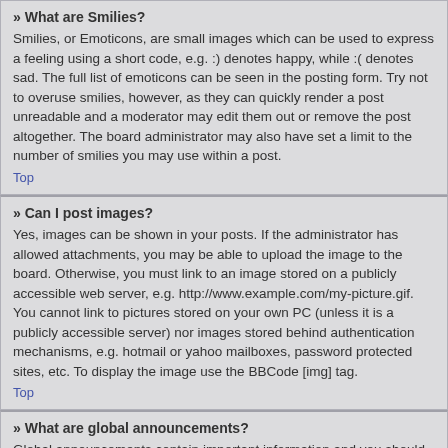» What are Smilies?
Smilies, or Emoticons, are small images which can be used to express a feeling using a short code, e.g. :) denotes happy, while :( denotes sad. The full list of emoticons can be seen in the posting form. Try not to overuse smilies, however, as they can quickly render a post unreadable and a moderator may edit them out or remove the post altogether. The board administrator may also have set a limit to the number of smilies you may use within a post.
Top
» Can I post images?
Yes, images can be shown in your posts. If the administrator has allowed attachments, you may be able to upload the image to the board. Otherwise, you must link to an image stored on a publicly accessible web server, e.g. http://www.example.com/my-picture.gif. You cannot link to pictures stored on your own PC (unless it is a publicly accessible server) nor images stored behind authentication mechanisms, e.g. hotmail or yahoo mailboxes, password protected sites, etc. To display the image use the BBCode [img] tag.
Top
» What are global announcements?
Global announcements contain important information and you should read them whenever possible. They will appear at the top of every forum and within your User Control Panel. Global